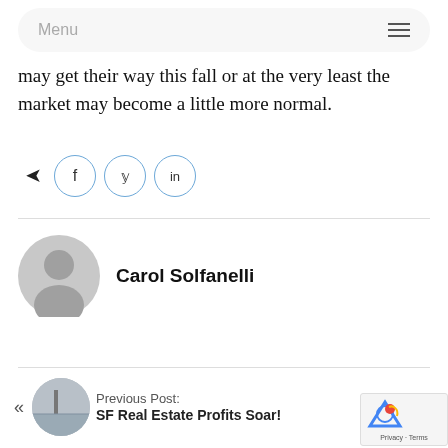Menu
may get their way this fall or at the very least the market may become a little more normal.
[Figure (other): Share icons row with forward arrow, Facebook circle icon, Twitter circle icon, and LinkedIn circle icon]
Carol Solfanelli
[Figure (photo): Gray default user avatar silhouette]
Previous Post:
SF Real Estate Profits Soar!
[Figure (photo): Small circular thumbnail photo of a bridge/waterfront scene]